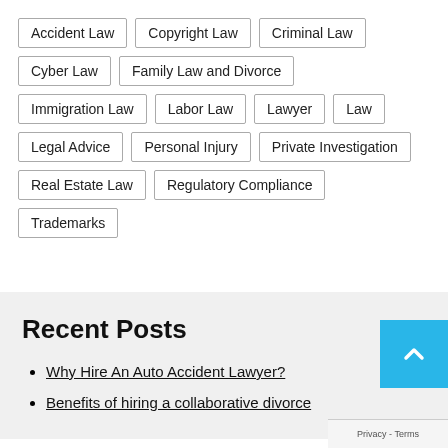Accident Law
Copyright Law
Criminal Law
Cyber Law
Family Law and Divorce
Immigration Law
Labor Law
Lawyer
Law
Legal Advice
Personal Injury
Private Investigation
Real Estate Law
Regulatory Compliance
Trademarks
Recent Posts
Why Hire An Auto Accident Lawyer?
Benefits of hiring a collaborative divorce